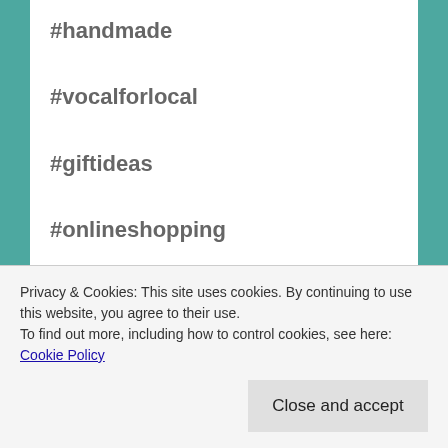#handmade
#vocalforlocal
#giftideas
#onlineshopping
#diwalisweets
Do let me know, what's your favourite trend this
Privacy & Cookies: This site uses cookies. By continuing to use this website, you agree to their use.
To find out more, including how to control cookies, see here: Cookie Policy